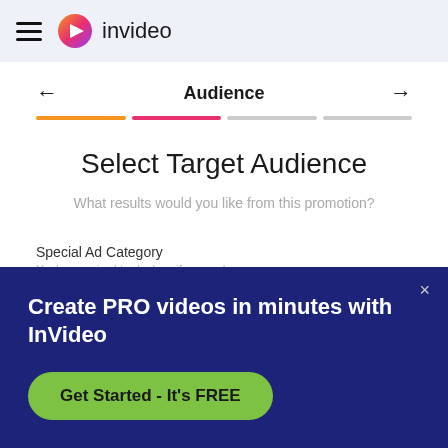invideo
Audience
Select Target Audience
What results would you like from this promotion?
Special Ad Category
You're required to declare if your ads are...
Create PRO videos in minutes with InVideo
Get Started - It's FREE